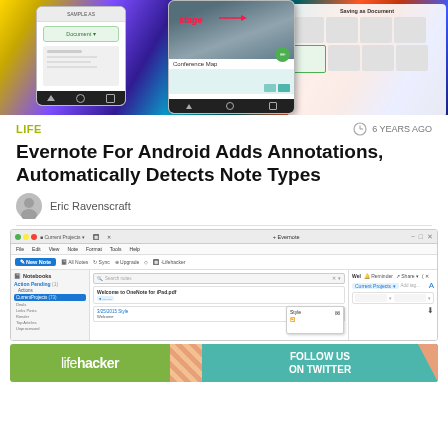[Figure (screenshot): App screenshots showing Evernote for Android with annotations interface, conference map, and document saving screen on colorful geometric background]
LIFE
6 YEARS AGO
Evernote For Android Adds Annotations, Automatically Detects Note Types
Eric Ravenscraft
[Figure (screenshot): Evernote desktop application screenshot showing notebooks sidebar, note list with 'Welcome to OneNote for iPad.pdf', and right panel with tags]
[Figure (screenshot): Lifehacker banner advertisement: lifehacker logo on green background with 'FOLLOW US ON TWITTER' on teal background with diagonal stripe design]